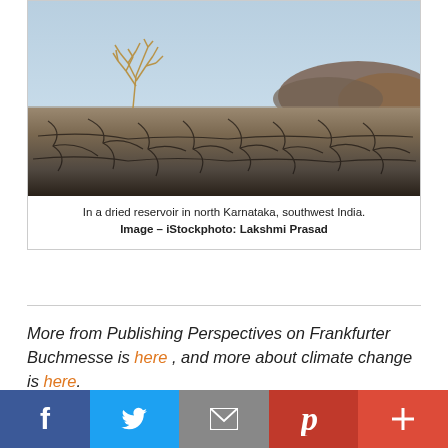[Figure (photo): A dried reservoir in north Karnataka, southwest India. A withered plant stands in cracked, dry earth. Arid landscape with hills and blue sky in the background.]
In a dried reservoir in north Karnataka, southwest India.
Image – iStockphoto: Lakshmi Prasad
More from Publishing Perspectives on Frankfurter Buchmesse is here , and more about climate change is here.